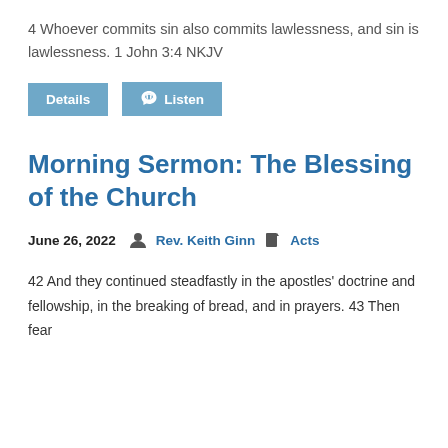4 Whoever commits sin also commits lawlessness, and sin is lawlessness. 1 John 3:4 NKJV
[Figure (other): Two buttons: 'Details' button (blue) and 'Listen' button (blue with headphones icon)]
Morning Sermon: The Blessing of the Church
June 26, 2022   Rev. Keith Ginn   Acts
42 And they continued steadfastly in the apostles' doctrine and fellowship, in the breaking of bread, and in prayers. 43 Then fear